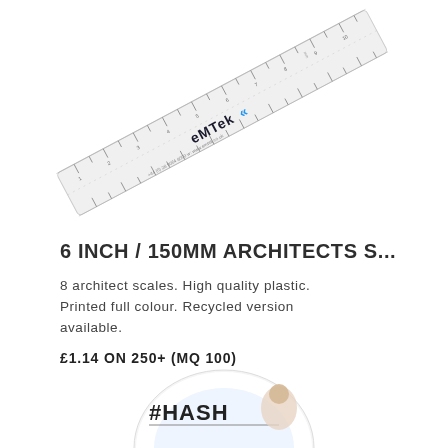[Figure (photo): A transparent plastic architect scale ruler branded with 'EMTEK' logo, shown at a diagonal angle on a white background.]
6 INCH / 150MM ARCHITECTS S...
8 architect scales. High quality plastic. Printed full colour. Recycled version available.
£1.14 ON 250+ (MQ 100)
[Figure (photo): Partial view of a circular badge/button with '#HASH' text and a photo, partially cropped at the bottom of the page.]